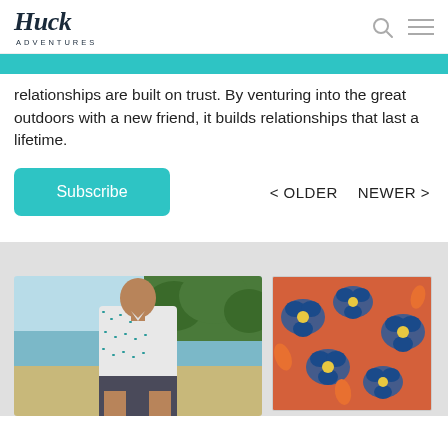Huck Adventures
relationships are built on trust. By venturing into the great outdoors with a new friend, it builds relationships that last a lifetime.
Subscribe
< OLDER   NEWER >
[Figure (photo): Man in tropical print shirt standing on a beach with water and trees in background]
[Figure (photo): Close-up of person wearing orange and blue floral print shorts/clothing]